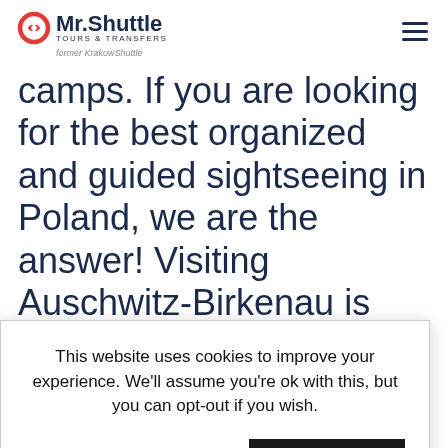Mr.Shuttle Tours & Transfers — former KrakowShuttle
camps. If you are looking for the best organized and guided sightseeing in Poland, we are the answer! Visiting Auschwitz-Birkenau is not an easy task. Since it is one of the most popular tourist sites in Europe (more [than...] year), [... dur]ing the [... gr]eatest [... n]ow heavy [... p]eople say [that the...]
This website uses cookies to improve your experience. We'll assume you're ok with this, but you can opt-out if you wish.
Cookie settings
ACCEPT